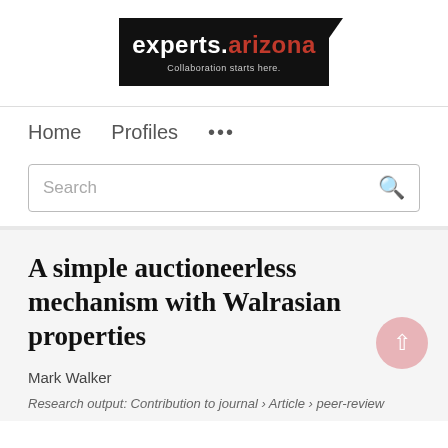[Figure (logo): experts.arizona logo — white text 'experts.' and red text 'arizona' on black background, tagline 'Collaboration starts here.']
Home   Profiles   ...
Search
A simple auctioneerless mechanism with Walrasian properties
Mark Walker
Research output: Contribution to journal › Article › peer-review